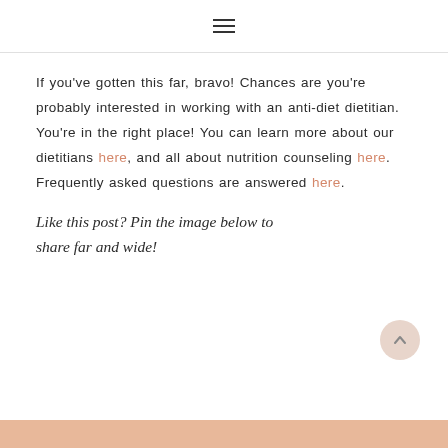≡
If you've gotten this far, bravo! Chances are you're probably interested in working with an anti-diet dietitian. You're in the right place! You can learn more about our dietitians here, and all about nutrition counseling here. Frequently asked questions are answered here.
Like this post? Pin the image below to share far and wide!
[Figure (other): Peach/salmon colored banner strip at bottom of page]